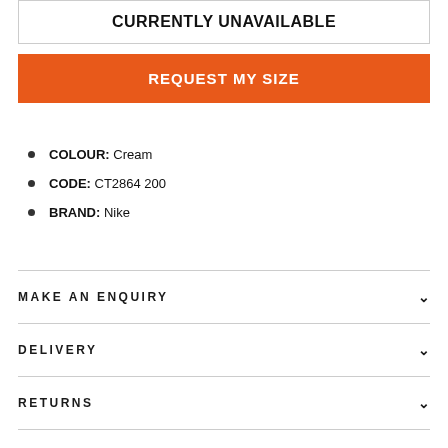CURRENTLY UNAVAILABLE
REQUEST MY SIZE
COLOUR: Cream
CODE: CT2864 200
BRAND: Nike
MAKE AN ENQUIRY
DELIVERY
RETURNS